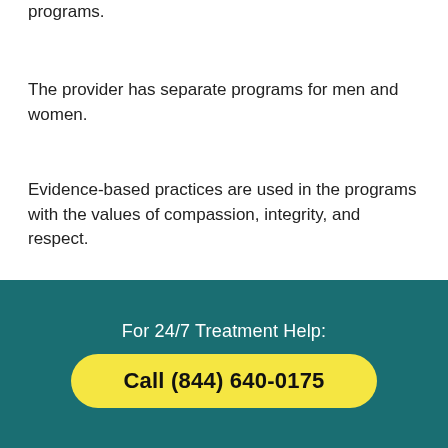programs.
The provider has separate programs for men and women.
Evidence-based practices are used in the programs with the values of compassion, integrity, and respect.
Location and contact information:
Men's Program
3033 Garfield Avenue South
Minneapolis, MN 55408
For 24/7 Treatment Help:
Call (844) 640-0175